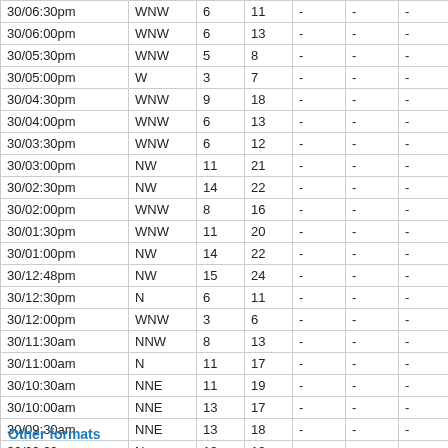| 30/06:30pm | WNW | 6 | 11 | - | - | - | - |
| 30/06:00pm | WNW | 6 | 13 | - | - | - | - |
| 30/05:30pm | WNW | 5 | 8 | - | - | - | - |
| 30/05:00pm | W | 3 | 7 | - | - | - | - |
| 30/04:30pm | WNW | 9 | 18 | - | - | - | - |
| 30/04:00pm | WNW | 6 | 13 | - | - | - | - |
| 30/03:30pm | WNW | 6 | 12 | - | - | - | - |
| 30/03:00pm | NW | 11 | 21 | - | - | - | - |
| 30/02:30pm | NW | 14 | 22 | - | - | - | - |
| 30/02:00pm | WNW | 8 | 16 | - | - | - | - |
| 30/01:30pm | WNW | 11 | 20 | - | - | - | - |
| 30/01:00pm | NW | 14 | 22 | - | - | - | - |
| 30/12:48pm | NW | 15 | 24 | - | - | - | - |
| 30/12:30pm | N | 6 | 11 | - | - | - | - |
| 30/12:00pm | WNW | 3 | 6 | - | - | - | - |
| 30/11:30am | NNW | 8 | 13 | - | - | - | - |
| 30/11:00am | N | 11 | 17 | - | - | - | - |
| 30/10:30am | NNE | 11 | 19 | - | - | - | - |
| 30/10:00am | NNE | 13 | 17 | - | - | - | - |
| 30/09:30am | NNE | 13 | 18 | - | - | - | - |
| 30/09:00am | N | 13 | 19 | - | - | - | - |
| 30/08:30am | NNE | 15 | 23 | - | - | - | - |
| 30/08:00am | NNE | 13 | 20 | - | - | - | - |
| 30/07:30am | NNE | 15 | 21 | - | - | - | - |
Other formats